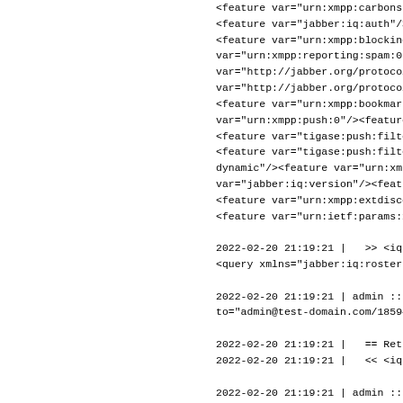<feature var="urn:xmpp:carbons:
<feature var="jabber:iq:auth"/>
<feature var="urn:xmpp:blocking"
var="urn:xmpp:reporting:spam:0"/
var="http://jabber.org/protocol
var="http://jabber.org/protocol
<feature var="urn:xmpp:bookmarks
var="urn:xmpp:push:0"/><feature
<feature var="tigase:push:filter
<feature var="tigase:push:filter
dynamic"/><feature var="urn:xmpp
var="jabber:iq:version"/><featur
<feature var="urn:xmpp:extdisco:
<feature var="urn:ietf:params:xm

2022-02-20 21:19:21 |   >> <iq xm
<query xmlns="jabber:iq:roster"/

2022-02-20 21:19:21 | admin :: a
to="admin@test-domain.com/185945

2022-02-20 21:19:21 |   == Retrie
2022-02-20 21:19:21 |   << <iq to

2022-02-20 21:19:21 | admin :: a
xmlns="jabber:iq:version"/></iq>